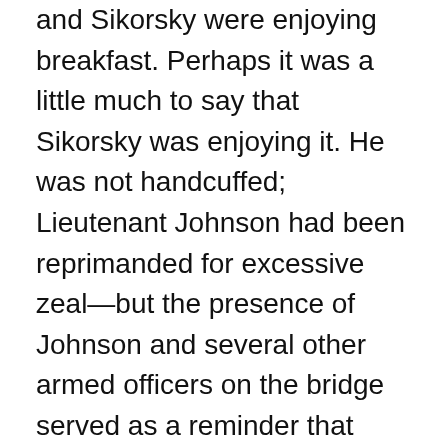and Sikorsky were enjoying breakfast. Perhaps it was a little much to say that Sikorsky was enjoying it. He was not handcuffed; Lieutenant Johnson had been reprimanded for excessive zeal—but the presence of Johnson and several other armed officers on the bridge served as a reminder that Sikorsky was officially in custody.
Kim drank coffee. Okoli surreptitiously spiked his own coffee with Bailey's Irish Cream from a pouch labelled SWEETENER. Sikorsky picked at an egg and ham calzone.
Also on the table were danishes, bagels, gooseberry and lingonberry preserves, smoked salmon, cream cheese, wedges of shrimp and mushroom quiche, and a selection of freeze-dried fruits. Most of the food had arrived on the